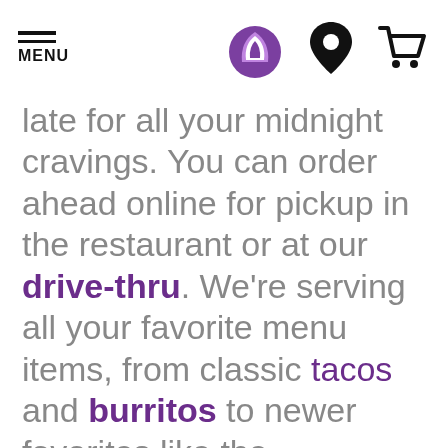MENU [Taco Bell logo] [location icon] [cart icon]
late for all your midnight cravings. You can order ahead online for pickup in the restaurant or at our drive-thru. We're serving all your favorite menu items, from classic tacos and burritos to newer favorites like the Crunchwrap